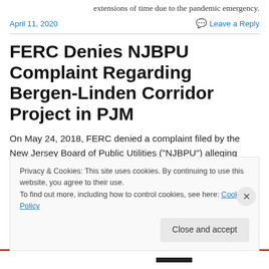extensions of time due to the pandemic emergency.
April 11, 2020
Leave a Reply
FERC Denies NJBPU Complaint Regarding Bergen-Linden Corridor Project in PJM
On May 24, 2018, FERC denied a complaint filed by the New Jersey Board of Public Utilities (“NJBPU”) alleging
Privacy & Cookies: This site uses cookies. By continuing to use this website, you agree to their use.
To find out more, including how to control cookies, see here: Cookie Policy
Close and accept